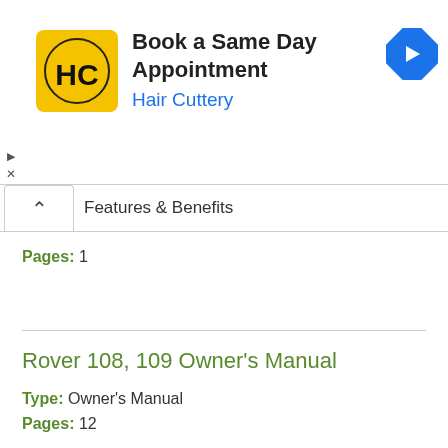[Figure (other): Hair Cuttery advertisement banner with logo, text 'Book a Same Day Appointment', 'Hair Cuttery', and a navigation arrow icon]
Features & Benefits
Pages: 1
Rover 108, 109 Owner's Manual
Type: Owner's Manual
Pages: 12
Rover Rancher 28168 Owner's Manual
Type: Owner's Manual
Pages: 16
Rover 3291 Features & Benefits Manual